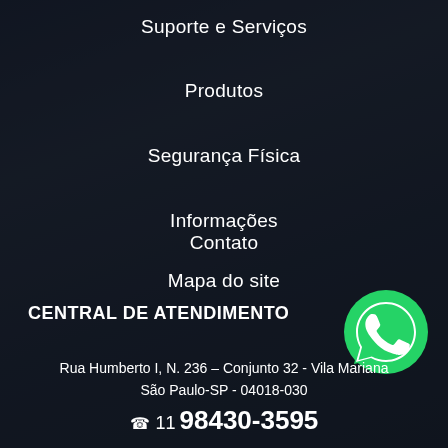Suporte e Serviços
Produtos
Segurança Física
Informações
Contato
Mapa do site
CENTRAL DE ATENDIMENTO
[Figure (logo): WhatsApp green logo icon]
Rua Humberto I, N. 236 – Conjunto 32 - Vila Mariana
São Paulo-SP - 04018-030
☎ 11 98430-3595